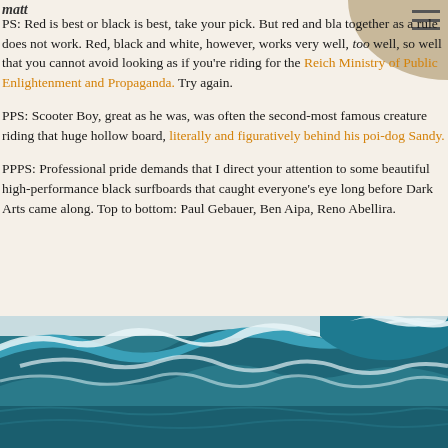matt
PS: Red is best or black is best, take your pick. But red and black together as a rule does not work. Red, black and white, however, works very well, too well, so well that you cannot avoid looking as if you're riding for the Reich Ministry of Public Enlightenment and Propaganda. Try again.
PPS: Scooter Boy, great as he was, was often the second-most famous creature riding that huge hollow board, literally and figuratively behind his poi-dog Sandy.
PPPS: Professional pride demands that I direct your attention to some beautiful high-performance black surfboards that caught everyone's eye long before Dark Arts came along. Top to bottom: Paul Gebauer, Ben Aipa, Reno Abellira.
[Figure (photo): Ocean wave photograph showing a large breaking wave with teal/blue-green water and white foam, viewed from water level]